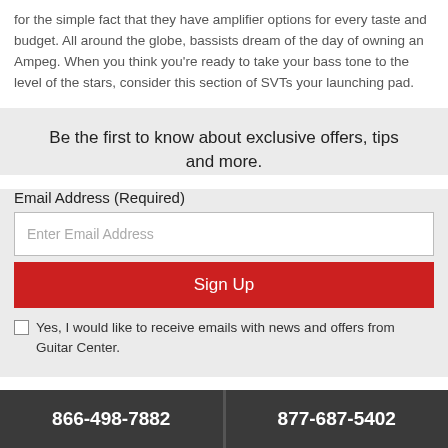for the simple fact that they have amplifier options for every taste and budget. All around the globe, bassists dream of the day of owning an Ampeg. When you think you're ready to take your bass tone to the level of the stars, consider this section of SVTs your launching pad.
Be the first to know about exclusive offers, tips and more.
Email Address (Required)
Enter Email Address
Sign Up
Yes, I would like to receive emails with news and offers from Guitar Center.
866-498-7882   877-687-5402